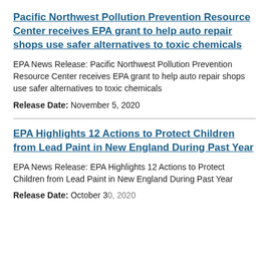Pacific Northwest Pollution Prevention Resource Center receives EPA grant to help auto repair shops use safer alternatives to toxic chemicals
EPA News Release: Pacific Northwest Pollution Prevention Resource Center receives EPA grant to help auto repair shops use safer alternatives to toxic chemicals
Release Date: November 5, 2020
EPA Highlights 12 Actions to Protect Children from Lead Paint in New England During Past Year
EPA News Release: EPA Highlights 12 Actions to Protect Children from Lead Paint in New England During Past Year
Release Date: October 30, 2020